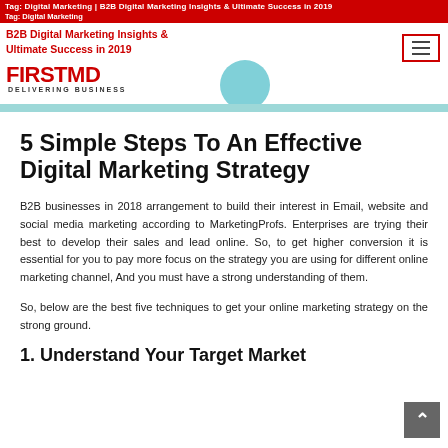Tag: Digital Marketing | B2B Digital Marketing Insights & Ultimate Success in 2019 | DELIVERING BUSINESS
5 Simple Steps To An Effective Digital Marketing Strategy
B2B businesses in 2018 arrangement to build their interest in Email, website and social media marketing according to MarketingProfs. Enterprises are trying their best to develop their sales and lead online. So, to get higher conversion it is essential for you to pay more focus on the strategy you are using for different online marketing channel, And you must have a strong understanding of them.
So, below are the best five techniques to get your online marketing strategy on the strong ground.
1. Understand Your Target Market